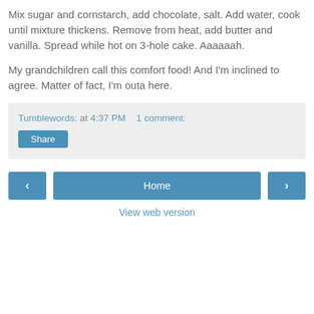Mix sugar and cornstarch, add chocolate, salt. Add water, cook until mixture thickens. Remove from heat, add butter and vanilla. Spread while hot on 3-hole cake. Aaaaaah.
My grandchildren call this comfort food! And I'm inclined to agree. Matter of fact, I'm outa here.
Tumblewords: at 4:37 PM   1 comment:
Share
‹
Home
›
View web version